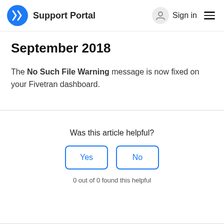Support Portal  Sign in
September 2018
The No Such File Warning message is now fixed on your Fivetran dashboard.
Was this article helpful?
0 out of 0 found this helpful